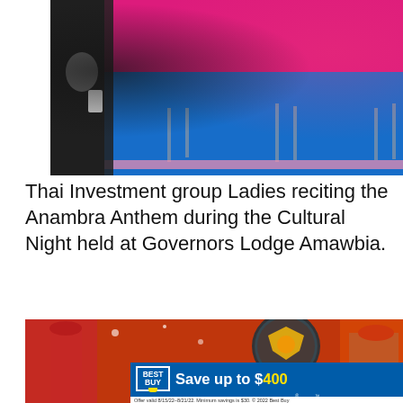[Figure (photo): Group of women wearing matching pink/magenta lace tops and blue satin skirts with decorative tassels, performing or posing at a cultural event. One person on the left is in a black patterned outfit holding a phone.]
Thai Investment group Ladies reciting the Anambra Anthem during the Cultural Night held at Governors Lodge Amawbia.
[Figure (photo): People at an event with traditional Nigerian attire including red fez hats, with a decorative emblem/coat of arms visible in the background. A Best Buy advertisement banner overlays the bottom portion.]